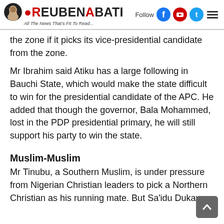ReubenAbati — All The News That's Fit To Read...
the zone if it picks its vice-presidential candidate from the zone.
Mr Ibrahim said Atiku has a large following in Bauchi State, which would make the state difficult to win for the presidential candidate of the APC. He added that though the governor, Bala Mohammed, lost in the PDP presidential primary, he will still support his party to win the state.
Muslim-Muslim
Mr Tinubu, a Southern Muslim, is under pressure from Nigerian Christian leaders to pick a Northern Christian as his running mate. But Sa'idu Dukawa,